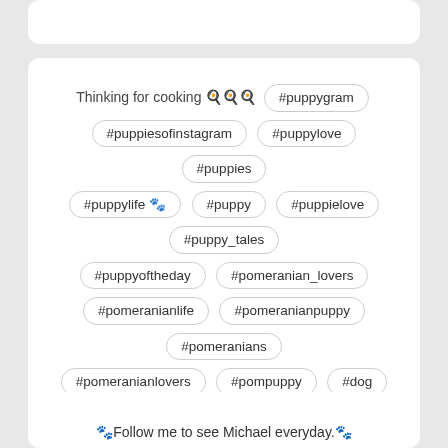Thinking for cooking 🍳🍳🍳 #puppygram #puppiesofinstagram #puppylove #puppies #puppylife 🐾 #puppy #puppielove #puppy_tales #puppyoftheday #pomeranian_lovers #pomeranianlife #pomeranianpuppy #pomeranians #pomeranianlovers #pompuppy #dog #dogsofinstagram #doglover #puppypics
🐾Follow me to see Michael everyday.🐾